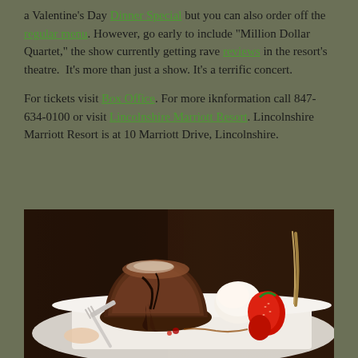a Valentine's Day Dinner Special but you can also order off the regular menu. However, go early to include "Million Dollar Quartet," the show currently getting rave reviews in the resort's theatre. It's more than just a show. It's a terrific concert.
For tickets visit Box Office. For more iknformation call 847-634-0100 or visit Lincolnshire Marriott Resort. Lincolnshire Marriott Resort is at 10 Marriott Drive, Lincolnshire.
[Figure (photo): Photo of a chocolate lava cake being cut open with a fork, served on a white plate with a scoop of ice cream, fresh strawberries, and a drizzle sauce, on a dark wooden background.]